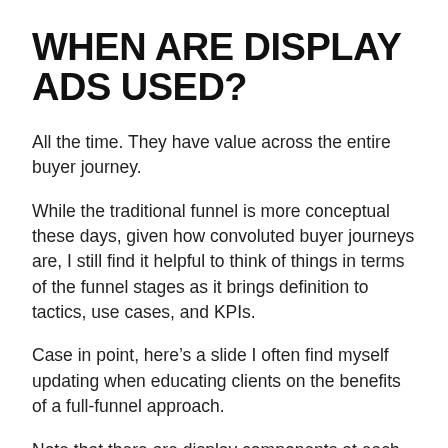WHEN ARE DISPLAY ADS USED?
All the time. They have value across the entire buyer journey.
While the traditional funnel is more conceptual these days, given how convoluted buyer journeys are, I still find it helpful to think of things in terms of the funnel stages as it brings definition to tactics, use cases, and KPIs.
Case in point, here’s a slide I often find myself updating when educating clients on the benefits of a full-funnel approach.
Note that there are display components at each